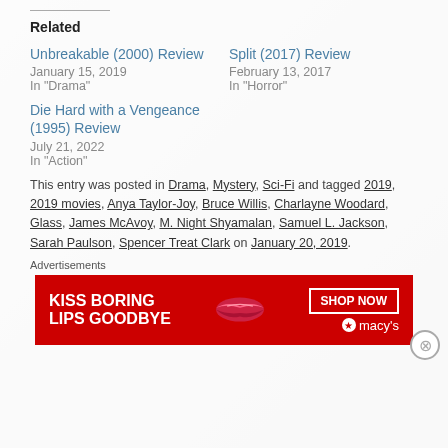Related
Unbreakable (2000) Review
January 15, 2019
In "Drama"
Split (2017) Review
February 13, 2017
In "Horror"
Die Hard with a Vengeance (1995) Review
July 21, 2022
In "Action"
This entry was posted in Drama, Mystery, Sci-Fi and tagged 2019, 2019 movies, Anya Taylor-Joy, Bruce Willis, Charlayne Woodard, Glass, James McAvoy, M. Night Shyamalan, Samuel L. Jackson, Sarah Paulson, Spencer Treat Clark on January 20, 2019.
Advertisements
[Figure (other): Macy's advertisement banner: KISS BORING LIPS GOODBYE with SHOP NOW button and Macy's logo]